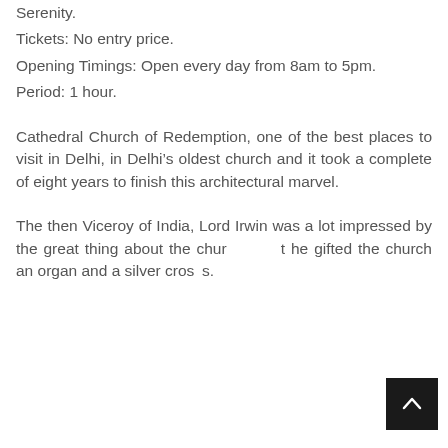Serenity.
Tickets: No entry price.
Opening Timings: Open every day from 8am to 5pm.
Period: 1 hour.
Cathedral Church of Redemption, one of the best places to visit in Delhi, in Delhi’s oldest church and it took a complete of eight years to finish this architectural marvel.
The then Viceroy of India, Lord Irwin was a lot impressed by the great thing about the church that he gifted the church an organ and a silver cross.